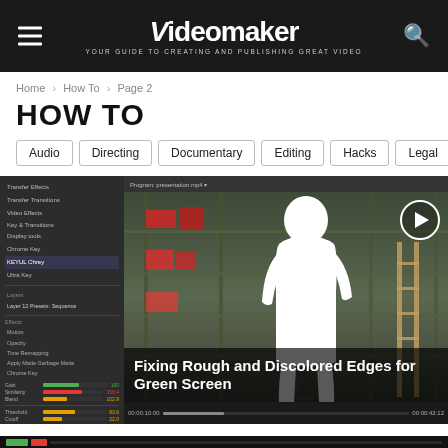Videomaker — YOUR GUIDE TO CREATING AND PUBLISHING GREAT VIDEO
Home › How To › Page 2
HOW TO
Audio
Directing
Documentary
Editing
Hacks
Legal
[Figure (screenshot): Video editing software (Adobe Premiere/After Effects) interface showing effects panel on the left and a green screen composite video preview on the right. The preview shows a white silhouette person against a warehouse/studio background with shelves. A play button is visible in the top right of the preview.]
Fixing Rough and Discolored Edges for Green Screen